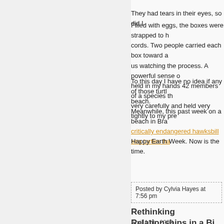They had tears in their eyes, so did I.
Filled with eggs, the boxes were strapped to her back with cords. Two people carried each box toward a... us watching the process. A powerful sense of... held in my hands 42 members of a species th... very carefully and held very tightly to my pre...
To this day I have no idea if any of those turtl... beach.
Meanwhile, this past week on a beach in Bra... critically endangered hawksbill sea turtles ha...
Happy Earth Week. Now is the time.
Posted by Cylvia Hayes at 7:56 pm
Rethinking Relationships in a Bi...
April 11th, 2009